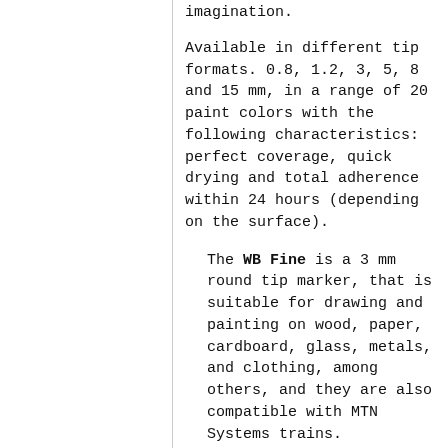imagination.
Available in different tip formats. 0.8, 1.2, 3, 5, 8 and 15 mm, in a range of 20 paint colors with the following characteristics: perfect coverage, quick drying and total adherence within 24 hours (depending on the surface).
The WB Fine is a 3 mm round tip marker, that is suitable for drawing and painting on wood, paper, cardboard, glass, metals, and clothing, among others, and they are also compatible with MTN Systems trains. Its valve system allows for excellent paint flow control, avoiding overloads and spills and its simple assembly allows for the marker to be opened for refilling and changing the tip if